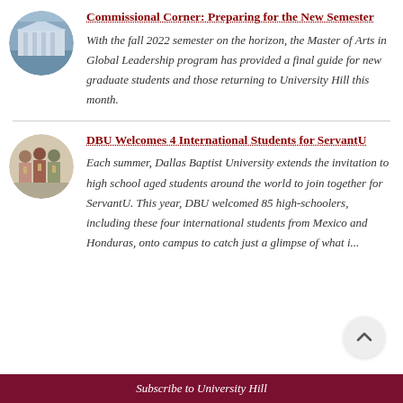[Figure (photo): Circular thumbnail photo of a building (university campus building with white columns)]
Commissional Corner: Preparing for the New Semester
With the fall 2022 semester on the horizon, the Master of Arts in Global Leadership program has provided a final guide for new graduate students and those returning to University Hill this month.
[Figure (photo): Circular thumbnail photo of a group of students with lanyards/badges]
DBU Welcomes 4 International Students for ServantU
Each summer, Dallas Baptist University extends the invitation to high school aged students around the world to join together for ServantU. This year, DBU welcomed 85 high-schoolers, including these four international students from Mexico and Honduras, onto campus to catch just a glimpse of what i...
Subscribe to University Hill